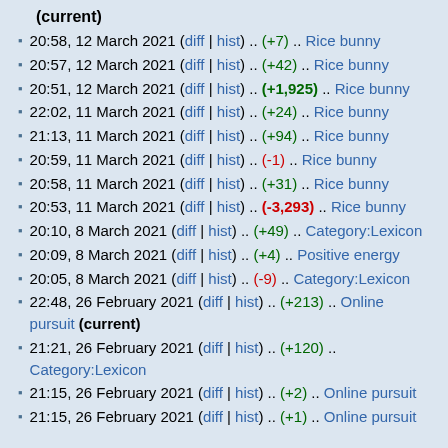(current)
20:58, 12 March 2021 (diff | hist) .. (+7) .. Rice bunny
20:57, 12 March 2021 (diff | hist) .. (+42) .. Rice bunny
20:51, 12 March 2021 (diff | hist) .. (+1,925) .. Rice bunny
22:02, 11 March 2021 (diff | hist) .. (+24) .. Rice bunny
21:13, 11 March 2021 (diff | hist) .. (+94) .. Rice bunny
20:59, 11 March 2021 (diff | hist) .. (-1) .. Rice bunny
20:58, 11 March 2021 (diff | hist) .. (+31) .. Rice bunny
20:53, 11 March 2021 (diff | hist) .. (-3,293) .. Rice bunny
20:10, 8 March 2021 (diff | hist) .. (+49) .. Category:Lexicon
20:09, 8 March 2021 (diff | hist) .. (+4) .. Positive energy
20:05, 8 March 2021 (diff | hist) .. (-9) .. Category:Lexicon
22:48, 26 February 2021 (diff | hist) .. (+213) .. Online pursuit (current)
21:21, 26 February 2021 (diff | hist) .. (+120) .. Category:Lexicon
21:15, 26 February 2021 (diff | hist) .. (+2) .. Online pursuit
21:15, 26 February 2021 (diff | hist) .. (+1) .. Online pursuit